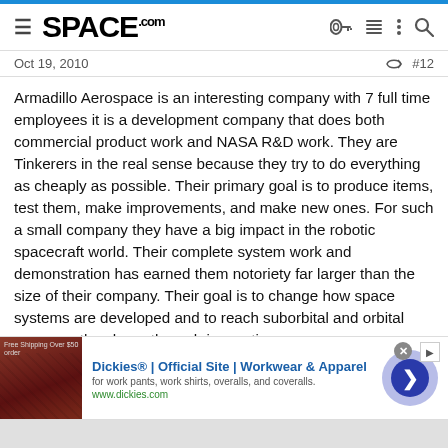SPACE.com
Oct 19, 2010   #12
Armadillo Aerospace is an interesting company with 7 full time employees it is a development company that does both commercial product work and NASA R&D work. They are Tinkerers in the real sense because they try to do everything as cheaply as possible. Their primary goal is to produce items, test them, make improvements, and make new ones. For such a small company they have a big impact in the robotic spacecraft world. Their complete system work and demonstration has earned them notoriety far larger than the size of their company. Their goal is to change how space systems are developed and to reach suborbital and orbital space on the cheap through innovation.
[Figure (screenshot): Advertisement banner for Dickies workwear showing product image, title 'Dickies® | Official Site | Workwear & Apparel', subtitle 'for work pants, work shirts, overalls, and coveralls.', URL www.dickies.com, and a navigation arrow button]